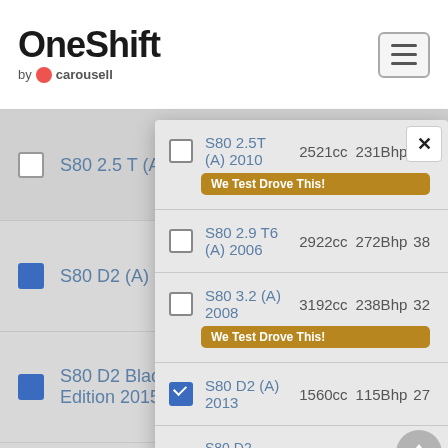OneShift by carousell
|  | Model | CC | Bhp |  |
| --- | --- | --- | --- | --- |
|  | S80 2.5 T (A) 2006 | 2521cc | 210Bhp | 32 |
|  | S80 2.5T (A) 2010 [We Test Drove This!] | 2521cc | 231Bhp | 34 |
|  | S80 2.9 T6 (A) 2006 | 2922cc | 272Bhp | 38 |
|  | S80 3.2 (A) 2008 [We Test Drove This!] | 3192cc | 238Bhp | 32 |
| checked | S80 D2 (A) 2013 | 1560cc | 115Bhp | 27 |
| checked | S80 D2 Black Edition 2015 | 1560cc | 115Bhp | 27 |
| checked | S80 D3 2013 | 1984cc | 163Bhp | 35 |